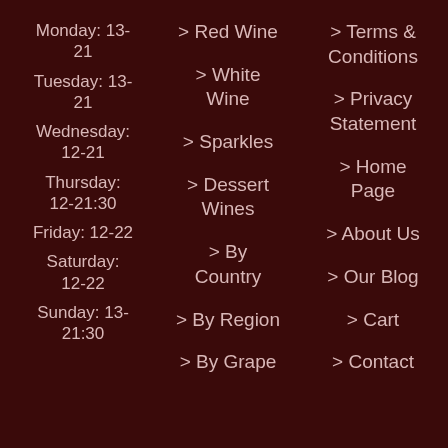Monday: 13-21
Tuesday: 13-21
Wednesday: 12-21
Thursday: 12-21:30
Friday: 12-22
Saturday: 12-22
Sunday: 13-21:30
> Red Wine
> White Wine
> Sparkles
> Dessert Wines
> By Country
> By Region
> By Grape
> Terms & Conditions
> Privacy Statement
> Home Page
> About Us
> Our Blog
> Cart
> Contact